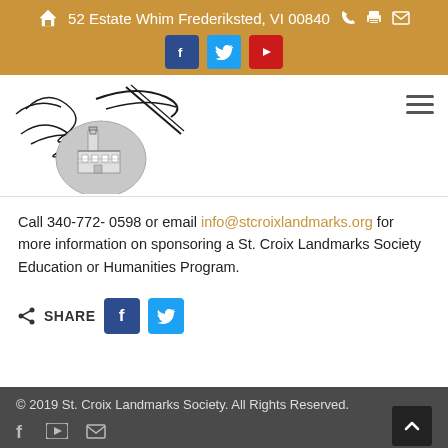52 Estate Whim Frederiksted, VI 00840
[Figure (logo): St. Croix Landmarks Society logo with decorative script and building illustration]
Call 340-772-0598 or email info@stcroixlandmarks.org for more information on sponsoring a St. Croix Landmarks Society Education or Humanities Program.
SHARE
© 2019 St. Croix Landmarks Society. All Rights Reserved.